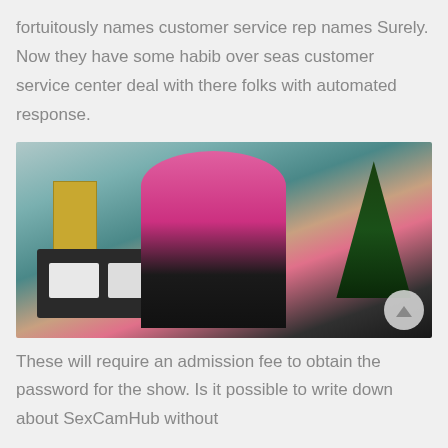fortuitously names customer service rep names Surely. Now they have some habib over seas customer service center deal with there folks with automated response.
[Figure (photo): A woman with long blonde hair wearing a pink crop top and dark pants, standing in an indoor room with a sofa, a door, and a Christmas tree in the background.]
These will require an admission fee to obtain the password for the show. Is it possible to write down about SexCamHub without